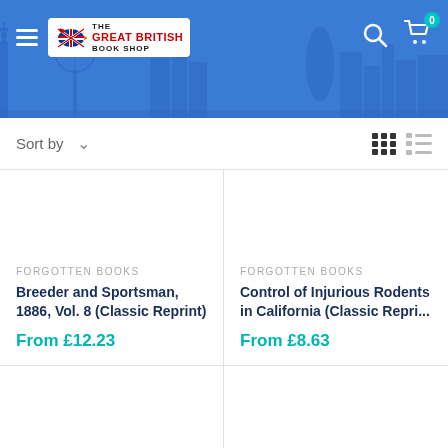[Figure (screenshot): The Great British Book Shop website header with blue background, London skyline silhouette, hamburger menu, logo, search icon, and cart icon with badge showing 0]
Sort by ▾
[Figure (other): Grid view icon (active) and list view icon]
FORGOTTEN BOOKS
Breeder and Sportsman, 1886, Vol. 8 (Classic Reprint)
From £12.23
FORGOTTEN BOOKS
Control of Injurious Rodents in California (Classic Repri...
From £8.63